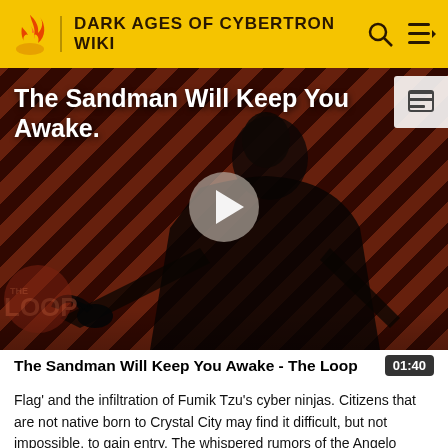DARK AGES OF CYBERTRON WIKI
[Figure (screenshot): Video thumbnail showing a figure in black robes against a diagonal red/dark striped background, with 'THE LOOP' watermark and a play button overlay. Title text reads 'The Sandman Will Keep You Awake.']
The Sandman Will Keep You Awake - The Loop
Flag' and the infiltration of Fumik Tzu's cyber ninjas. Citizens that are not native born to Crystal City may find it difficult, but not impossible, to gain entry. The whispered rumors of the Angelo Leader Murusu and semi-retired